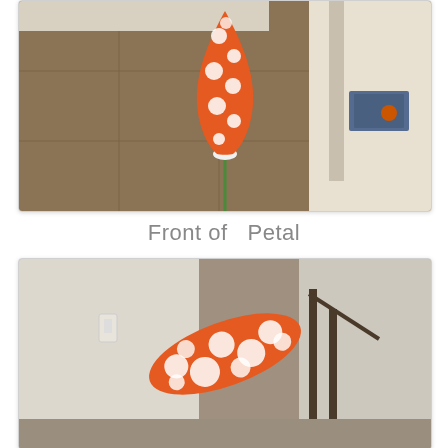[Figure (photo): Close-up photo of the front of an orange fabric petal with white polka dots, held vertically, attached to a green wire stem. Indoor home setting with tile floor visible in background.]
Front of  Petal
[Figure (photo): Photo of the same orange fabric petal with white polka dots, shown at an angle, held horizontally/diagonally. Indoor home setting with stairs and doorway visible in background.]